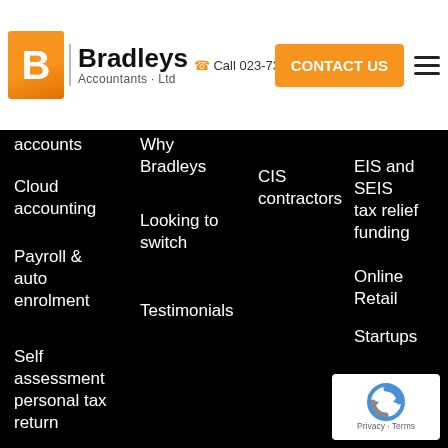Bradleys Accountants Ltd | Call 023-733-1287 | CONTACT US
accounts
Why Bradleys
CIS contractors
EIS and SEIS tax relief funding
Cloud accounting
Looking to switch
Online Retail
Payroll & auto enrolment
Testimonials
Startups
Self assessment personal tax return
Cash flow forecasting and budgeting
Limited company formation